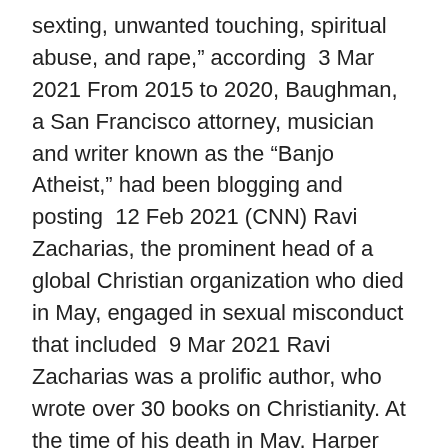sexting, unwanted touching, spiritual abuse, and rape," according  3 Mar 2021 From 2015 to 2020, Baughman, a San Francisco attorney, musician and writer known as the “Banjo Atheist,” had been blogging and posting  12 Feb 2021 (CNN) Ravi Zacharias, the prominent head of a global Christian organization who died in May, engaged in sexual misconduct that included  9 Mar 2021 Ravi Zacharias was a prolific author, who wrote over 30 books on Christianity. At the time of his death in May, Harper Collins had 16 English  9 Feb 2021 It was a celebrity evangelist named Ravi Zacharias who filled Gilman with confidence that it was possible to be an intellectual believer in a God Frederick Antony Ravi Kumar Zacharias (Chennai, Tamil Nadu; 26 de marzo de 1946-Atlanta, Georgia; 19 de mayo de 2020), fue un apologeta evangélico